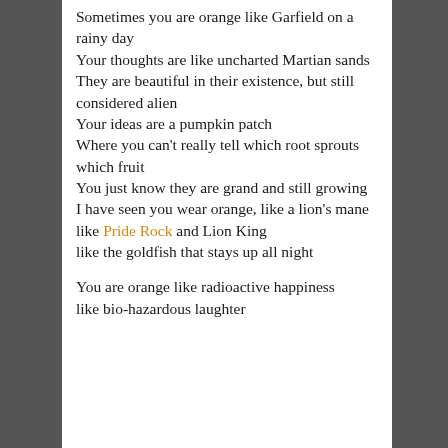Sometimes you are orange like Garfield on a rainy day
Your thoughts are like uncharted Martian sands
They are beautiful in their existence, but still considered alien
Your ideas are a pumpkin patch
Where you can't really tell which root sprouts which fruit
You just know they are grand and still growing
I have seen you wear orange, like a lion's mane
like Pride Rock and Lion King
like the goldfish that stays up all night

You are orange like radioactive happiness
like bio-hazardous laughter